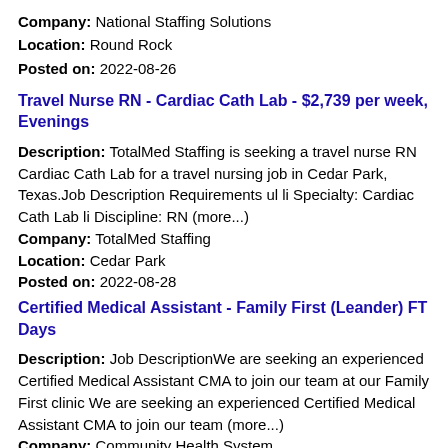Company: National Staffing Solutions
Location: Round Rock
Posted on: 2022-08-26
Travel Nurse RN - Cardiac Cath Lab - $2,739 per week, Evenings
Description: TotalMed Staffing is seeking a travel nurse RN Cardiac Cath Lab for a travel nursing job in Cedar Park, Texas.Job Description Requirements ul li Specialty: Cardiac Cath Lab li Discipline: RN (more...)
Company: TotalMed Staffing
Location: Cedar Park
Posted on: 2022-08-28
Certified Medical Assistant - Family First (Leander) FT Days
Description: Job DescriptionWe are seeking an experienced Certified Medical Assistant CMA to join our team at our Family First clinic We are seeking an experienced Certified Medical Assistant CMA to join our team (more...)
Company: Community Health System
Location: Cedar Park
Posted on: 2022-08-28
Travel Cytotechnologists
Description: Travel Cytotechnologist Numerous Nationwide Travel Assignments / Jobs br br Tired of completing an